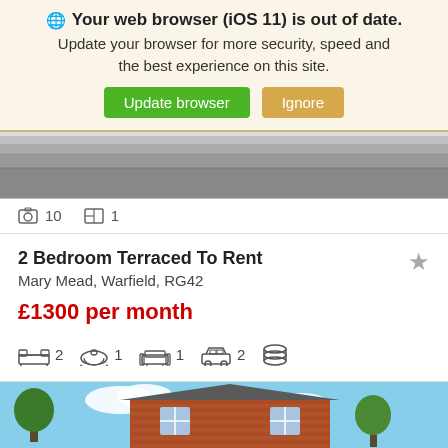🌐 Your web browser (iOS 11) is out of date. Update your browser for more security, speed and the best experience on this site. Update browser | Ignore
[Figure (photo): Partial view of a grey carpeted floor or pavement, black and white/greyscale photo]
📷 10  □ 1
2 Bedroom Terraced To Rent
Mary Mead, Warfield, RG42
£1300 per month
2 bedrooms, 1 bathroom, 1 reception, 2 parking, coin/service charge icon
[Figure (photo): Exterior of a red-brick house with white-framed windows against a blue sky with trees]